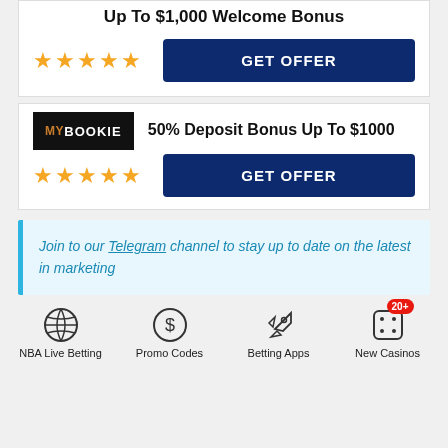Up To $1,000 Welcome Bonus
GET OFFER
[Figure (logo): MyBookie logo — black background with orange MY and white BOOKIE text]
50% Deposit Bonus Up To $1000
GET OFFER
Join to our Telegram channel to stay up to date on the latest in marketing
NBA Live Betting
Promo Codes
Betting Apps
New Casinos